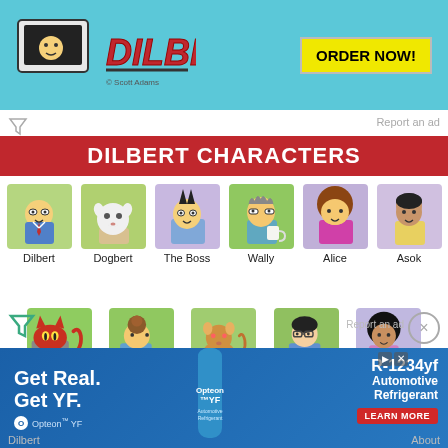[Figure (illustration): Dilbert comic strip advertisement banner with 'DILBERT' logo in red italic on cyan background, a character at a TV, and yellow 'ORDER NOW!' button. '© Scott Adams' credit shown.]
Report an ad
DILBERT CHARACTERS
[Figure (illustration): Dilbert character icon on green background]
[Figure (illustration): Dogbert character icon on green background]
[Figure (illustration): The Boss character icon on lavender background]
[Figure (illustration): Wally character icon on green background]
[Figure (illustration): Alice character icon on lavender background]
[Figure (illustration): Asok character icon on lavender background]
Dilbert
Dogbert
The Boss
Wally
Alice
Asok
[Figure (illustration): Catbert character icon on green background]
[Figure (illustration): Carol character icon on green background]
[Figure (illustration): Ratbert character icon on green background]
[Figure (illustration): Ted character icon on green background]
[Figure (illustration): Tina character icon on lavender background]
Catbert
Carol
Ratbert
Ted
Tina
[Figure (illustration): Opteon YF automotive refrigerant advertisement banner with blue background, bottle image, 'Get Real. Get YF.' text, and 'R-1234yf Automotive Refrigerant LEARN MORE' call to action.]
Dilbert
About